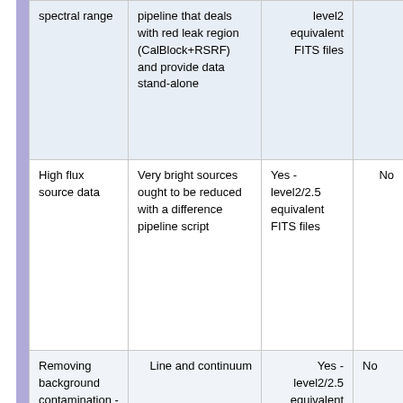| spectral range | pipeline that deals with red leak region (CalBlock+RSRF) and provide data stand-alone | level2 equivalent FITS files |  |
| High flux source data | Very bright sources ought to be reduced with a difference pipeline script | Yes - level2/2.5 equivalent FITS files | No |
| Removing background contamination - case 1 chopNod mode | Line and continuum | Yes - level2/2.5 equivalent FITS files | No |